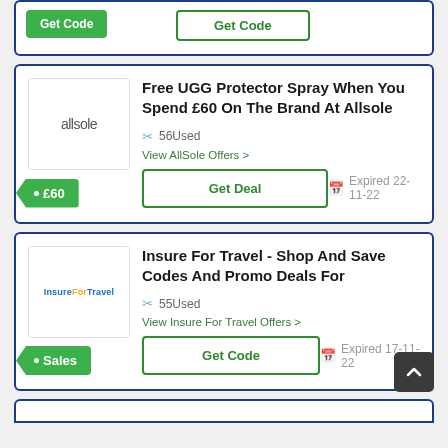[Figure (other): Partial top card showing green button and outlined button, cut off at top of page]
Free UGG Protector Spray When You Spend £60 On The Brand At Allsole
56Used
View AllSole Offers >
Get Deal
Expired 22-11-22
£60
Insure For Travel - Shop And Save Codes And Promo Deals For
55Used
View Insure For Travel Offers >
Get Code
Expired 17-11-22
Sales